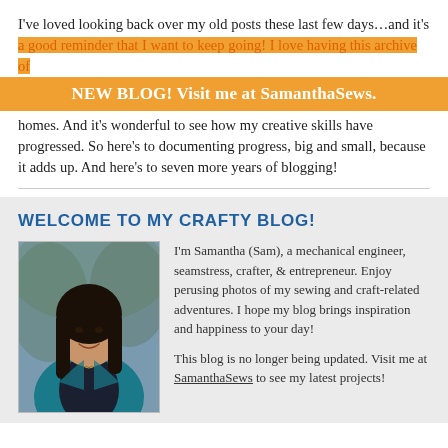I've loved looking back over my old posts these last few days…and it's a good reminder that I want to keep going! I love having this archive of homes. And it's wonderful to see how my creative skills have progressed. So here's to documenting progress, big and small, because it adds up. And here's to seven more years of blogging!
NEW BLOG! Visit me at SamanthaSews.
WELCOME TO MY CRAFTY BLOG!
[Figure (photo): Portrait photo of a woman with long dark hair wearing a teal/blue cardigan, smiling, with blurred outdoor background]
I'm Samantha (Sam), a mechanical engineer, seamstress, crafter, & entrepreneur. Enjoy perusing photos of my sewing and craft-related adventures. I hope my blog brings inspiration and happiness to your day!

This blog is no longer being updated. Visit me at SamanthaSews to see my latest projects!